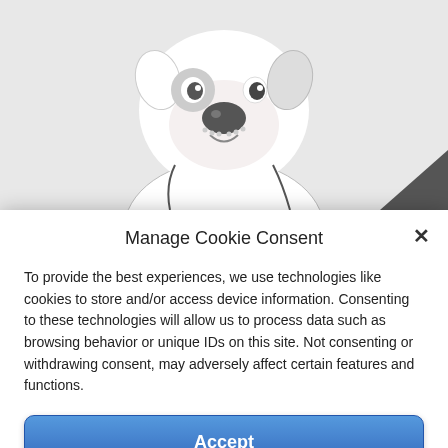[Figure (illustration): Cartoon illustration of a dog (bull terrier style) with black nose, spotted face, visible from shoulders up, against a light grey background]
Manage Cookie Consent
To provide the best experiences, we use technologies like cookies to store and/or access device information. Consenting to these technologies will allow us to process data such as browsing behavior or unique IDs on this site. Not consenting or withdrawing consent, may adversely affect certain features and functions.
Accept
Deny
View preferences